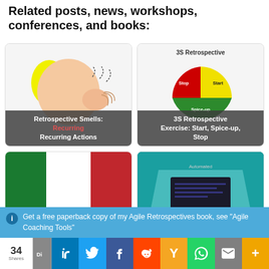Related posts, news, workshops, conferences, and books:
[Figure (illustration): Card showing a cartoon person smelling with label 'Retrospective Smells: Recurring Actions' with the word Recurring in red]
[Figure (pie-chart): 3S Retrospective pie chart with Stop (red), Start (yellow), Spice-up (green) sections, and label '3S Retrospective Exercise: Start, Spice-up, Stop']
[Figure (illustration): Card with green and red vertical stripe background and label 'Agile Retrospective Bingo and Retrospective']
[Figure (screenshot): Card with teal background showing a computer screen with label 'It's time to start orchestrating our']
Get a free paperback copy of my Agile Retrospectives book, see "Agile Coaching Tools"
34 Shares | LinkedIn | Twitter | Facebook | Reddit | Hacker News | WhatsApp | Email | More